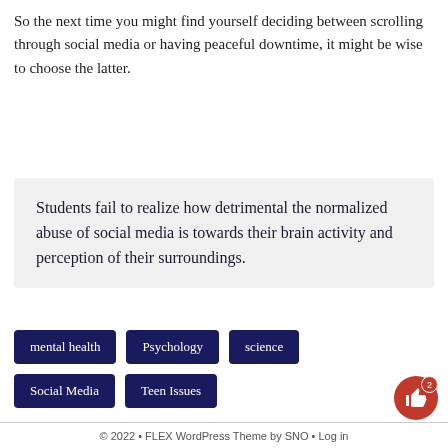So the next time you might find yourself deciding between scrolling through social media or having peaceful downtime, it might be wise to choose the latter.
Students fail to realize how detrimental the normalized abuse of social media is towards their brain activity and perception of their surroundings.
mental health
Psychology
science
Social Media
Teen Issues
© 2022 • FLEX WordPress Theme by SNO • Log in